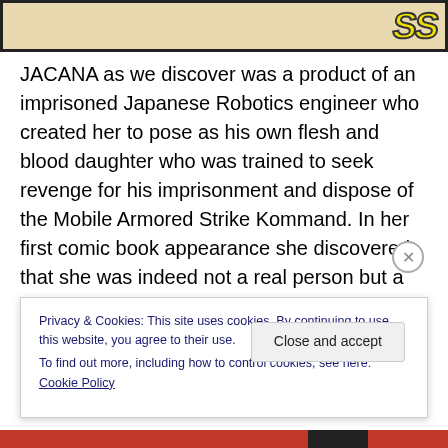[Figure (illustration): Top portion of a comic book or website header image with a tan/beige background and a yellow diagonal logo text partially visible in upper right corner]
JACANA as we discover was a product of an imprisoned Japanese Robotics engineer who created her to pose as his own flesh and blood daughter who was trained to seek revenge for his imprisonment and dispose of the Mobile Armored Strike Kommand. In her first comic book appearance she discovered that she was indeed not a real person but a programmed robot something that changed her mindset against M.A.S.K. It would be V.E.N.O.M. who would cause her to fall to her watery grave that is until
Privacy & Cookies: This site uses cookies. By continuing to use this website, you agree to their use.
To find out more, including how to control cookies, see here: Cookie Policy
Close and accept